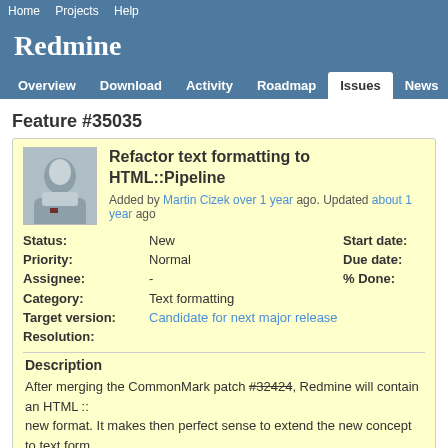Home  Projects  Help
Redmine
Overview  Download  Activity  Roadmap  Issues  News  W
Feature #35035
Refactor text formatting to HTML::Pipeline
Added by Martin Cizek over 1 year ago. Updated about 1 year ago
| Field | Value | Field | Value |
| --- | --- | --- | --- |
| Status: | New | Start date: |  |
| Priority: | Normal | Due date: |  |
| Assignee: | - | % Done: |  |
| Category: | Text formatting |  |  |
| Target version: | Candidate for next major release |  |  |
| Resolution: |  |  |  |
Description
After merging the CommonMark patch #32424, Redmine will contain an HTML :: new format. It makes then perfect sense to extend the new concept to text form
The current implementation looks like: